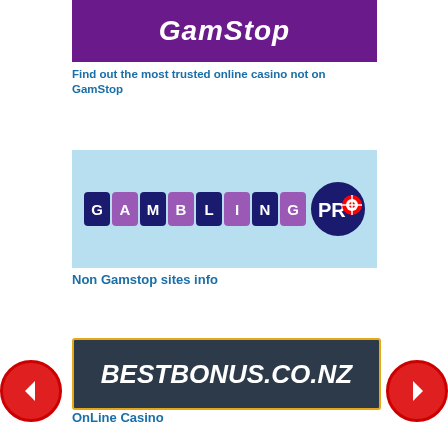[Figure (logo): GamStop purple logo banner (cropped at top)]
Find out the most trusted online casino not on GamStop
[Figure (logo): GamblingPro logo with alternating dark navy and purple letter tiles on light blue background]
Non Gamstop sites info
[Figure (logo): BestBonus.co.nz logo in white italic text on dark navy background with yellow border]
OnLine Casino